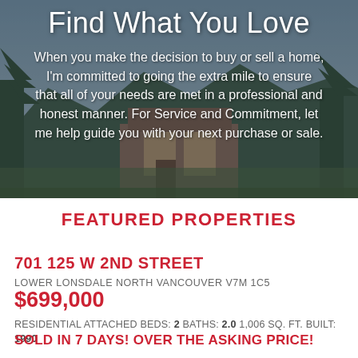[Figure (photo): Background hero image of a luxury home with trees and outdoor setting, with dark overlay]
Find What You Love
When you make the decision to buy or sell a home, I'm committed to going the extra mile to ensure that all of your needs are met in a professional and honest manner. For Service and Commitment, let me help guide you with your next purchase or sale.
FEATURED PROPERTIES
701 125 W 2ND STREET
LOWER LONSDALE NORTH VANCOUVER V7M 1C5
$699,000
RESIDENTIAL ATTACHED BEDS: 2 BATHS: 2.0 1,006 SQ. FT. BUILT: 1990
SOLD IN 7 DAYS! OVER THE ASKING PRICE!